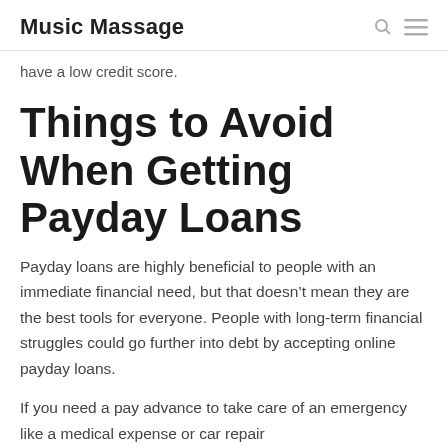Music Massage
have a low credit score.
Things to Avoid When Getting Payday Loans
Payday loans are highly beneficial to people with an immediate financial need, but that doesn’t mean they are the best tools for everyone. People with long-term financial struggles could go further into debt by accepting online payday loans.
If you need a pay advance to take care of an emergency like a medical expense or car repair